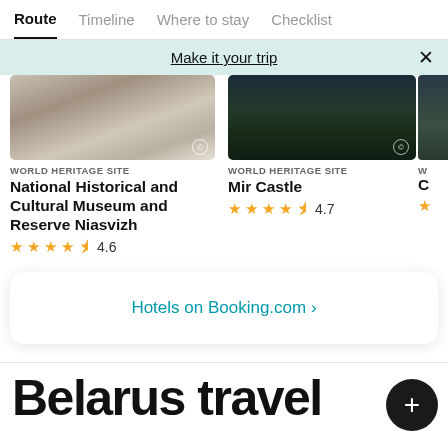Route | Timeline | Where to stay | Checklist
Make it your trip
[Figure (photo): Snowy ruins/heritage site photo for National Historical and Cultural Museum]
WORLD HERITAGE SITE
National Historical and Cultural Museum and Reserve Niasvizh
4.6 stars rating
[Figure (photo): Dark lake/reeds photo for Mir Castle]
WORLD HERITAGE SITE
Mir Castle
4.7 stars rating
Hotels on Booking.com ›
Belarus travel